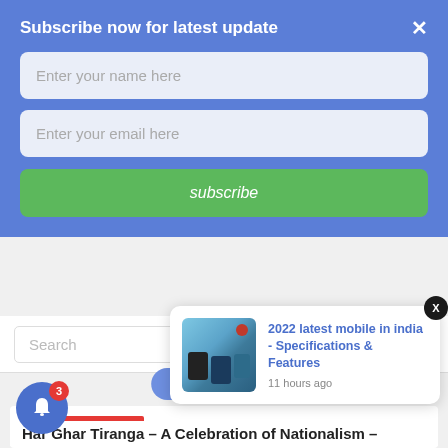Subscribe now for latest update
Enter your name here
Enter your email here
subscribe
Search
⚡ by Convertful
Latest Post
2022 latest mobile in india – Specifications & Features
2022 latest mobile in india - Specifications & Features
11 hours ago
Har Ghar Tiranga – A Celebration of Nationalism –